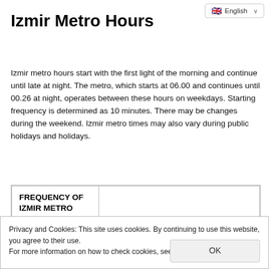🇬🇧 English ∨
Izmir Metro Hours
Izmir metro hours start with the first light of the morning and continue until late at night. The metro, which starts at 06.00 and continues until 00.26 at night, operates between these hours on weekdays. Starting frequency is determined as 10 minutes. There may be changes during the weekend. Izmir metro times may also vary during public holidays and holidays.
| FREQUENCY OF IZMIR METRO |  |
| --- | --- |
Privacy and Cookies: This site uses cookies. By continuing to use this website, you agree to their use.
For more information on how to check cookies, see here: Cookie Policy